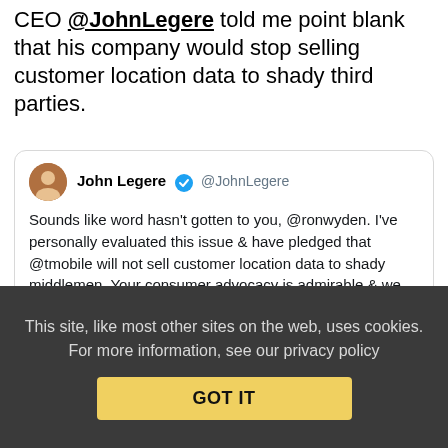CEO @JohnLegere told me point blank that his company would stop selling customer location data to shady third parties.
[Figure (screenshot): Embedded tweet from John Legere (@JohnLegere) with verified badge. Tweet text: 'Sounds like word hasn't gotten to you, @ronwyden. I've personally evaluated this issue & have pledged that @tmobile will not sell customer location data to shady middlemen. Your consumer advocacy is admirable & we remain committed to consumer privacy. twitter.com/RonWyden/statu…' Posted 5:32 PM · Jan 8, 2019. 214 likes, Reply, Copy link options. Read 17 replies button.]
This site, like most other sites on the web, uses cookies. For more information, see our privacy policy
GOT IT